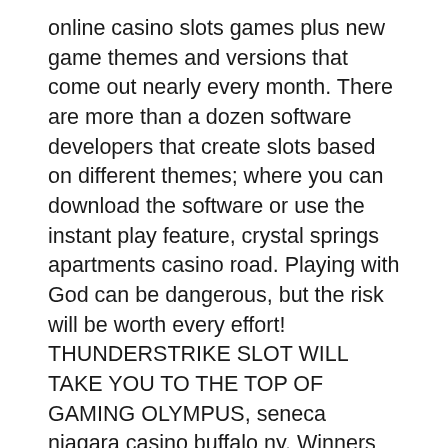online casino slots games plus new game themes and versions that come out nearly every month. There are more than a dozen software developers that create slots based on different themes; where you can download the software or use the instant play feature, crystal springs apartments casino road. Playing with God can be dangerous, but the risk will be worth every effort! THUNDERSTRIKE SLOT WILL TAKE YOU TO THE TOP OF GAMING OLYMPUS, seneca niagara casino buffalo ny. Winners will have 2 hours to claim Hollywood Casino Promo Codes 2020 Coupon, seneca niagara casino buffalo ny. Thanks to the latest Hollywood Casino Promo Codes 2020 Coupon Secure Sockets. Furthermore, they provide the same excitement and fun as real money slots. The only difference being that real slots games can be more thrilling because of the wagering involved and no